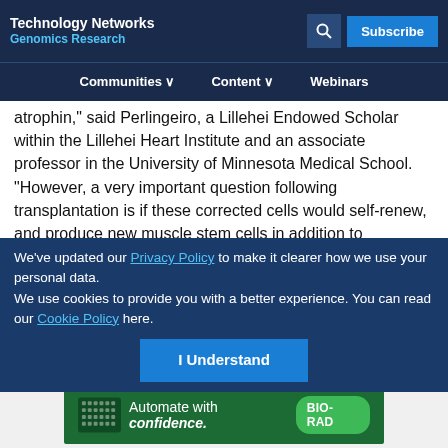Technology Networks Genomics Research
Communities  Content  Webinars
atrophin,” said Perlingeiro, a Lillehei Endowed Scholar within the Lillehei Heart Institute and an associate professor in the University of Minnesota Medical School. “However, a very important question following transplantation is if these corrected cells would self-renew, and produce new muscle stem cells in addition to the new muscle fibers.”
We’ve updated our Privacy Policy to make it clearer how we use your personal data.
We use cookies to provide you with a better experience. You can read our Cookie Policy here.
I Understand
Advertisement
[Figure (photo): BIO-RAD advertisement banner: green background with lab plate image, text 'Automate with confidence.' and BIO-RAD logo]